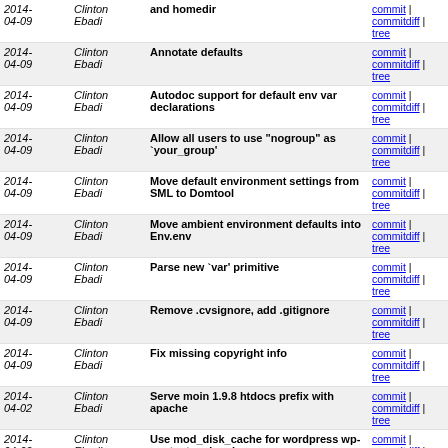| Date | Author | Message | Links |
| --- | --- | --- | --- |
| 2014-04-09 | Clinton Ebadi | and homedir | commit | commitdiff | tree |
| 2014-04-09 | Clinton Ebadi | Annotate defaults | commit | commitdiff | tree |
| 2014-04-09 | Clinton Ebadi | Autodoc support for default env var declarations | commit | commitdiff | tree |
| 2014-04-09 | Clinton Ebadi | Allow all users to use "nogroup" as `your_group' | commit | commitdiff | tree |
| 2014-04-09 | Clinton Ebadi | Move default environment settings from SML to Domtool | commit | commitdiff | tree |
| 2014-04-09 | Clinton Ebadi | Move ambient environment defaults into Env.env | commit | commitdiff | tree |
| 2014-04-09 | Clinton Ebadi | Parse new `var' primitive | commit | commitdiff | tree |
| 2014-04-09 | Clinton Ebadi | Remove .cvsignore, add .gitignore | commit | commitdiff | tree |
| 2014-04-09 | Clinton Ebadi | Fix missing copyright info | commit | commitdiff | tree |
| 2014-04-02 | Clinton Ebadi | Serve moin 1.9.8 htdocs prefix with apache | commit | commitdiff | tree |
| 2014-04-02 | Clinton Ebadi | Use mod_disk_cache for wordpress wp-content and moin... | commit | commitdiff | tree |
| 2014-03-30 | Clinton Ebadi | Fix definition of DefaultAliasSource | commit | commitdiff | tree |
| 2014-03-29 | Clinton Ebadi | Easy_domain: Use DefaultAliasSource for DefaultAlias | commit | commitdiff | tree |
| 2014-03-30 | Clinton Ebadi | Quiet compiler warning for Firewall.formatInput.Output | commit | commitdiff | tree |